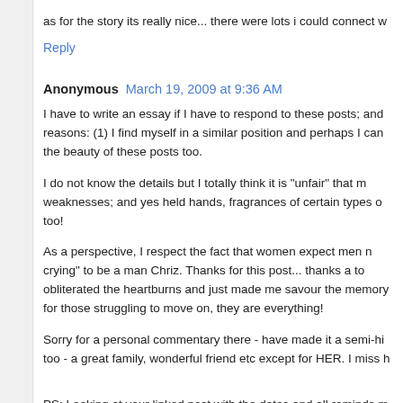as for the story its really nice... there were lots i could connect w
Reply
Anonymous  March 19, 2009 at 9:36 AM
I have to write an essay if I have to respond to these posts; and reasons: (1) I find myself in a similar position and perhaps I can the beauty of these posts too.
I do not know the details but I totally think it is "unfair" that m weaknesses; and yes held hands, fragrances of certain types o too!
As a perspective, I respect the fact that women expect men n crying" to be a man Chriz. Thanks for this post... thanks a to obliterated the heartburns and just made me savour the memory for those struggling to move on, they are everything!
Sorry for a personal commentary there - have made it a semi-hi too - a great family, wonderful friend etc except for HER. I miss h
PS: Looking at your linked post with the dates and all reminds m